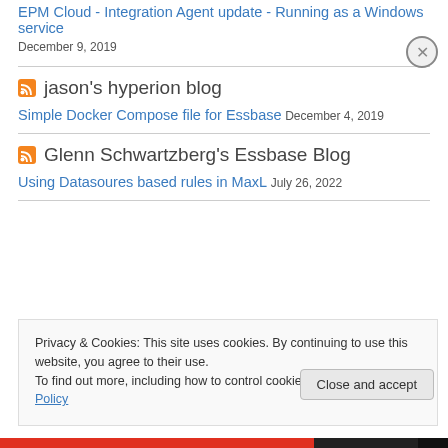EPM Cloud - Integration Agent update - Running as a Windows service
December 9, 2019
jason's hyperion blog
Simple Docker Compose file for Essbase December 4, 2019
Glenn Schwartzberg's Essbase Blog
Using Datasoures based rules in MaxL July 26, 2022
Privacy & Cookies: This site uses cookies. By continuing to use this website, you agree to their use. To find out more, including how to control cookies, see here: Cookie Policy
Close and accept